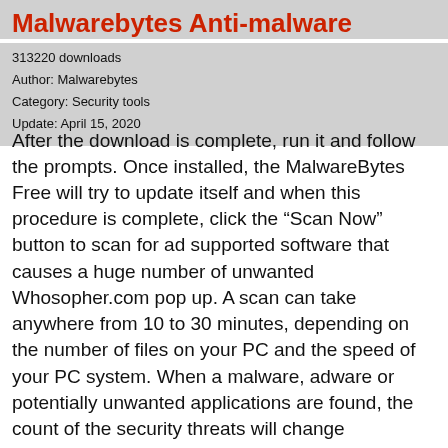Malwarebytes Anti-malware
313220 downloads
Author: Malwarebytes
Category: Security tools
Update: April 15, 2020
After the download is complete, run it and follow the prompts. Once installed, the MalwareBytes Free will try to update itself and when this procedure is complete, click the “Scan Now” button to scan for ad supported software that causes a huge number of unwanted Whosopher.com pop up. A scan can take anywhere from 10 to 30 minutes, depending on the number of files on your PC and the speed of your PC system. When a malware, adware or potentially unwanted applications are found, the count of the security threats will change accordingly. Wait until the the scanning is done. All found threats will be marked. You can get rid of them all by simply click “Quarantine Selected” button.
The MalwareBytes Anti-Malware (MBAM)